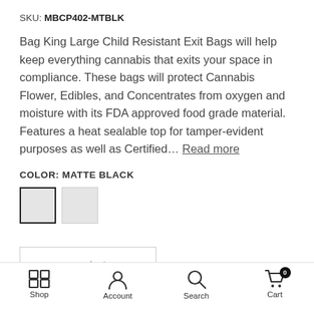SKU: MBCP402-MTBLK
Bag King Large Child Resistant Exit Bags will help keep everything cannabis that exits your space in compliance. These bags will protect Cannabis Flower, Edibles, and Concentrates from oxygen and moisture with its FDA approved food grade material. Features a heat sealable top for tamper-evident purposes as well as Certified... Read more
COLOR: MATTE BLACK
[Figure (other): Two color swatches: first swatch selected with dark border (matte black/light gray), second swatch unselected with lighter border (lighter gray)]
[Figure (other): Quantity selector box with minus and plus controls, partially visible at the bottom of the content area]
Shop  Account  Search  Cart